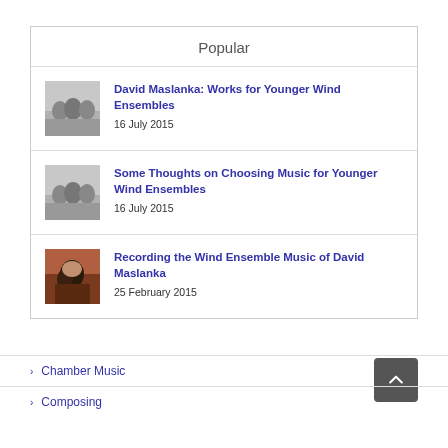Popular
David Maslanka: Works for Younger Wind Ensembles
16 July 2015
Some Thoughts on Choosing Music for Younger Wind Ensembles
16 July 2015
Recording the Wind Ensemble Music of David Maslanka
25 February 2015
Chamber Music
Composing